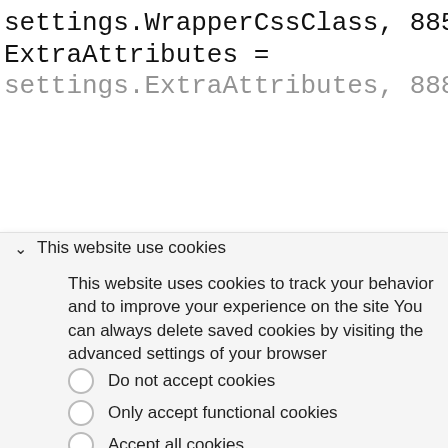settings.WrapperCssClass, 885
OnChange = settings.OnChange, 886
OnClick = settings.OnClick, 887
ExtraAttributes =
settings.ExtraAttributes, 888 // 889
This website use cookies
This website uses cookies to track your behavior and to improve your experience on the site You can always delete saved cookies by visiting the advanced settings of your browser
Do not accept cookies
Only accept functional cookies
Accept all cookies